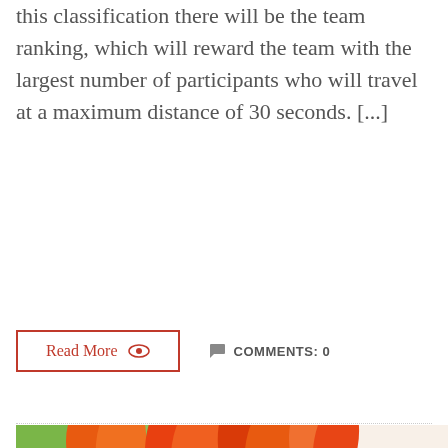this classification there will be the team ranking, which will reward the team with the largest number of participants who will travel at a maximum distance of 30 seconds. [...]
Read More   COMMENTS: 0
[Figure (photo): A photo showing orange tulips and decorated Easter eggs with floral patterns on an orange/yellow ribbon, on a white background.]